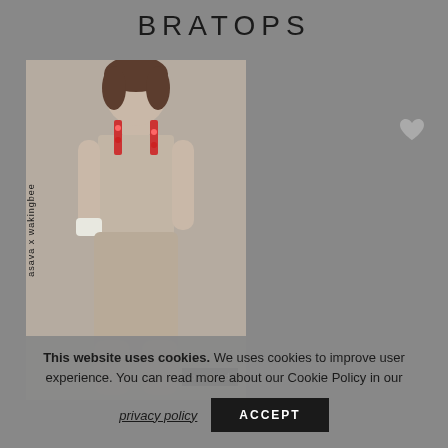BRATOPS
[Figure (photo): A model wearing a beige/tan athletic outfit consisting of a bra top with red/floral straps and matching biker shorts. The model also wears a white wristband. A vertical text watermark reads 'asava x wakingbee' and a 'beeloved' badge is in the bottom right corner of the image.]
This website uses cookies. We uses cookies to improve user experience. You can read more about our Cookie Policy in our
privacy policy
ACCEPT